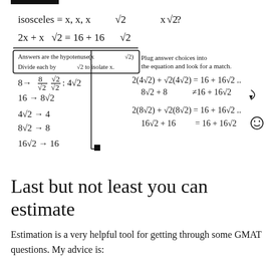[Figure (other): Handwritten math workings for isosceles triangle problem. Shows: isosceles = x, x, x√2. Then 2x + x√2 = 16 + 16√2. A boxed note says answers are the hypotenuse (x√2), divide each by √2 to isolate x. Lists: 8→8/√2 · √2/√2 : 4√2, 16→8√2, 4√2→4, 8√2→8, 16√2→16. Right side shows plug answer choices into the equation and look for a match: 2(4√2)+√2(4√2)=16+16√2, 8√2+8 ≠16+16√2. Then 2(8√2)+√2(8√2)=16+16√2, 16√2+16=16+16√2 (happy face, correct).]
Last but not least you can estimate
Estimation is a very helpful tool for getting through some GMAT questions. My advice is: